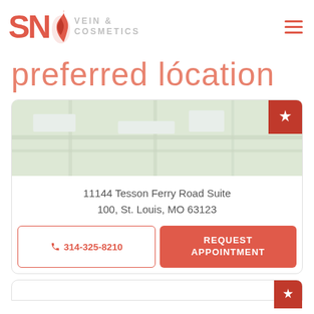[Figure (logo): SNL Vein & Cosmetics logo with flame icon and hamburger menu]
preferred lócation
11144 Tesson Ferry Road Suite 100, St. Louis, MO 63123
☎ 314-325-8210
REQUEST APPOINTMENT